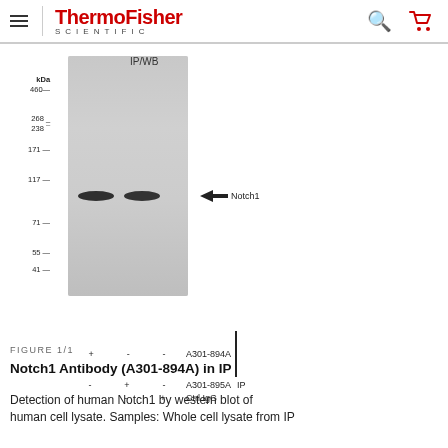ThermoFisher Scientific
[Figure (other): Western blot immunoprecipitation (IP/WB) image showing Notch1 protein band at ~117 kDa. Two lanes show positive bands (A301-894A and A301-895A antibodies), one lane is negative (Ctrl IgG). Molecular weight ladder on left: kDa 460, 268, 238, 171, 117, 71, 55, 41. Arrow pointing to Notch1 band at 117 kDa. Bottom labels show +/- for each lane and antibody names A301-894A, A301-895A, Ctrl IgG with IP bracket.]
FIGURE 1/1
Notch1 Antibody (A301-894A) in IP
Detection of human Notch1 by western blot of human cell lysate. Samples: Whole cell lysate from IP